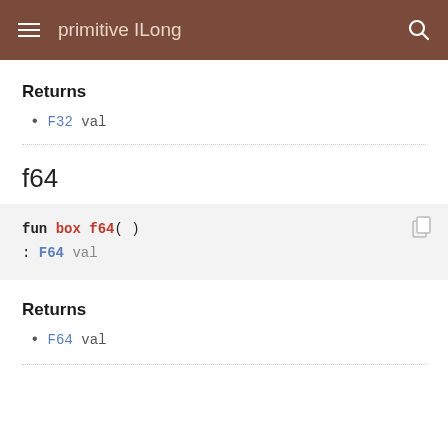primitive ILong
Returns
F32 val
f64
fun box f64()
: F64 val
Returns
F64 val